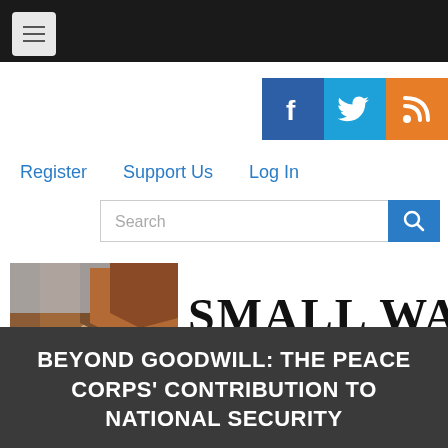[Figure (screenshot): Top navigation bar with hamburger menu icon on black background]
[Figure (logo): Social media icons: Facebook (blue), Twitter (light blue), RSS (orange)]
Register    Support Us    Log In
[Figure (screenshot): Search bar with magnifying glass button]
[Figure (logo): Small Wars Journal logo with landscape painting and bold serif text 'SMALL WARS JOURNAL']
BEYOND GOODWILL: THE PEACE CORPS' CONTRIBUTION TO NATIONAL SECURITY